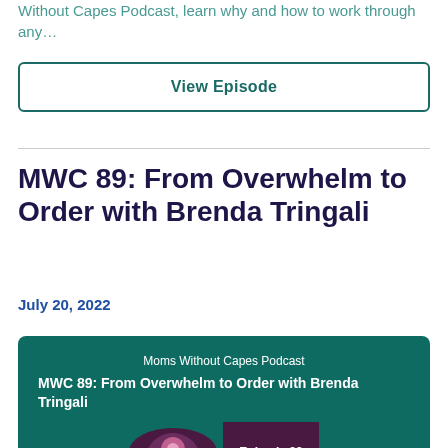Without Capes Podcast, learn why and how to work through any…
View Episode
MWC 89: From Overwhelm to Order with Brenda Tringali
July 20, 2022
[Figure (other): Podcast card with teal background showing 'Moms Without Capes Podcast' and episode title 'MWC 89: From Overwhelm to Order with Brenda Tringali' with podcast logo and Episode 89 badge]